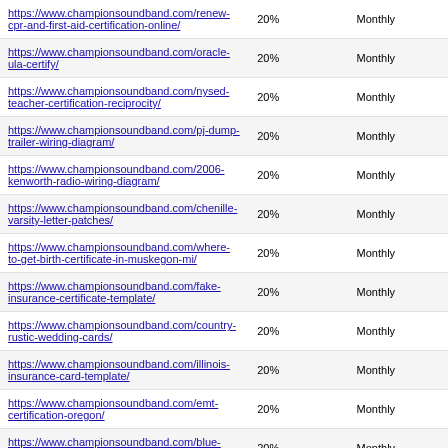| https://www.championsoundband.com/renew-cpr-and-first-aid-certification-online/ | 20% | Monthly |
| https://www.championsoundband.com/oracle-ula-certify/ | 20% | Monthly |
| https://www.championsoundband.com/nysed-teacher-certification-reciprocity/ | 20% | Monthly |
| https://www.championsoundband.com/pj-dump-trailer-wiring-diagram/ | 20% | Monthly |
| https://www.championsoundband.com/2006-kenworth-radio-wiring-diagram/ | 20% | Monthly |
| https://www.championsoundband.com/chenille-varsity-letter-patches/ | 20% | Monthly |
| https://www.championsoundband.com/where-to-get-birth-certificate-in-muskegon-mi/ | 20% | Monthly |
| https://www.championsoundband.com/fake-insurance-certificate-template/ | 20% | Monthly |
| https://www.championsoundband.com/country-rustic-wedding-cards/ | 20% | Monthly |
| https://www.championsoundband.com/illinois-insurance-card-template/ | 20% | Monthly |
| https://www.championsoundband.com/emt-certification-oregon/ | 20% | Monthly |
| https://www.championsoundband.com/blue-wedding-invitation-background/ | 20% | Monthly |
| https://www.championsoundband.com/fillable-certificate-of-insurance-form/ | 20% | Monthly |